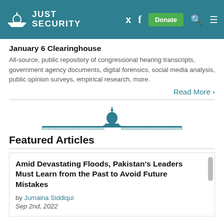[Figure (logo): Just Security website header with capitol building logo, navigation icons (Twitter, Facebook), Donate button, search and menu icons on teal background]
January 6 Clearinghouse
All-source, public repository of congressional hearing transcripts, government agency documents, digital forensics, social media analysis, public opinion surveys, empirical research, more.
Read More
[Figure (logo): Just Security capitol building logo icon with horizontal line]
Featured Articles
Amid Devastating Floods, Pakistan's Leaders Must Learn from the Past to Avoid Future Mistakes
by Jumaina Siddiqui
Sep 2nd, 2022